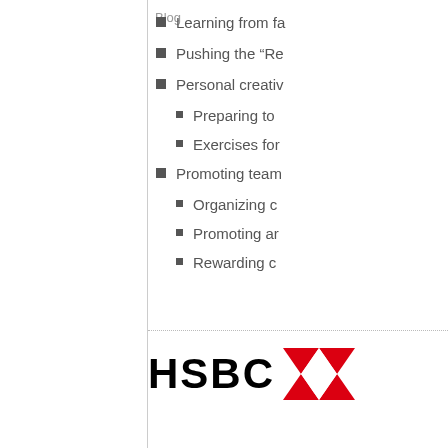Blog
Learning from fa…
Pushing the “Re…
Personal creativ…
Preparing to…
Exercises for…
Promoting team…
Organizing c…
Promoting ar…
Rewarding c…
[Figure (logo): HSBC logo with red hexagon icon]